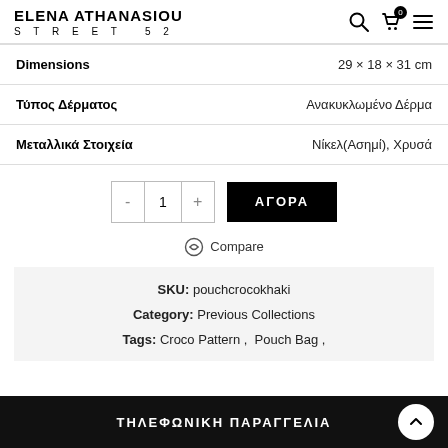ELENA ATHANASIOU STREET 52
| Attribute | Value |
| --- | --- |
| Dimensions | 29 × 18 × 31 cm |
| Τύπος Δέρματος | Ανακυκλωμένο Δέρμα |
| Μεταλλικά Στοιχεία | Νίκελ(Ασημί), Χρυσά |
- 1 + ΑΓΟΡΑ
Compare
SKU: pouchcrocokhaki
Category: Previous Collections
Tags: Croco Pattern , Pouch Bag ,
ΤΗΛΕΦΩΝΙΚΗ ΠΑΡΑΓΓΕΛΙΑ